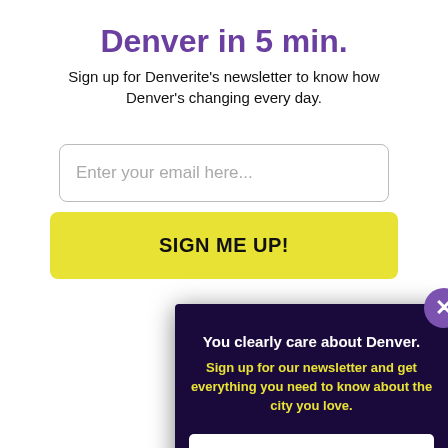Denver in 5 min.
Sign up for Denverite's newsletter to know how Denver's changing every day.
[Figure (screenshot): Email input field with placeholder text 'Enter your email here...']
[Figure (screenshot): Yellow button with bold text 'SIGN ME UP!']
Tagged
2016 in vehicle, Hobbies
[Figure (screenshot): Modal overlay on dark purple background with close button (X). Contains text: 'You clearly care about Denver. Sign up for our newsletter and get everything you need to know about the city you love.' Email input field and 'Sign me up!' yellow button.]
[Figure (screenshot): Facebook share bar at bottom left]